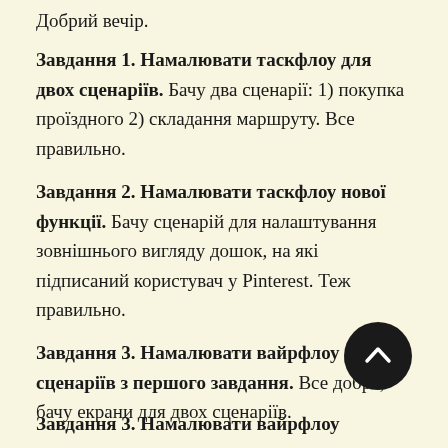Добрий вечір.
Завдання 1. Намалювати таскфлоу для двох сценаріїв. Бачу два сценарії: 1) покупка проїздного 2) складання маршруту. Все правильно.
Завдання 2. Намалювати таскфлоу нової функції. Бачу сценарій для налаштування зовнішнього вигляду дошок, на які підписаний користувач у Pinterest. Теж правильно.
Завдання 3. Намалювати вайрфлоу для сценаріїв з першого завдання. Все добре, бачу екрани для двох сценаріїв.
Завдання 3. Намалювати вайрфлоу